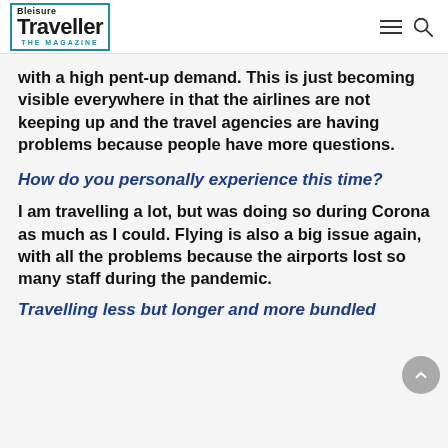Bleisure Traveller THE MAGAZINE
with a high pent-up demand. This is just becoming visible everywhere in that the airlines are not keeping up and the travel agencies are having problems because people have more questions.
How do you personally experience this time?
I am travelling a lot, but was doing so during Corona as much as I could. Flying is also a big issue again, with all the problems because the airports lost so many staff during the pandemic.
Travelling less but longer and more bundled